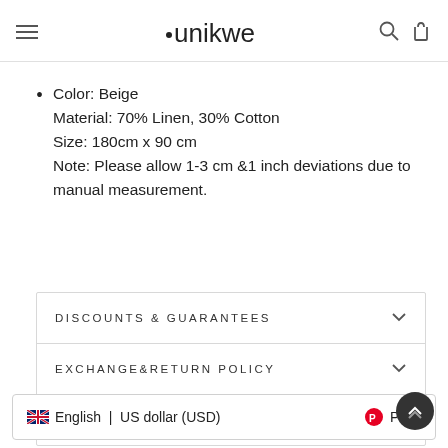unikwe
Color: Beige
Material: 70% Linen, 30% Cotton
Size: 180cm x 90 cm
Note: Please allow 1-3 cm &1 inch deviations due to manual measurement.
DISCOUNTS & GUARANTEES
EXCHANGE&RETURN POLICY
ASK A QUESTION
English | US dollar (USD)   Pin it